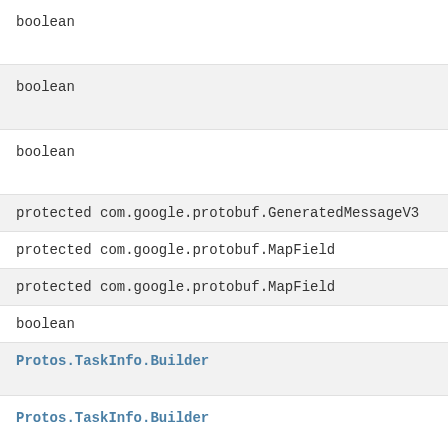boolean
boolean
boolean
protected com.google.protobuf.GeneratedMessageV3
protected com.google.protobuf.MapField
protected com.google.protobuf.MapField
boolean
Protos.TaskInfo.Builder
Protos.TaskInfo.Builder
Protos.TaskInfo.Builder